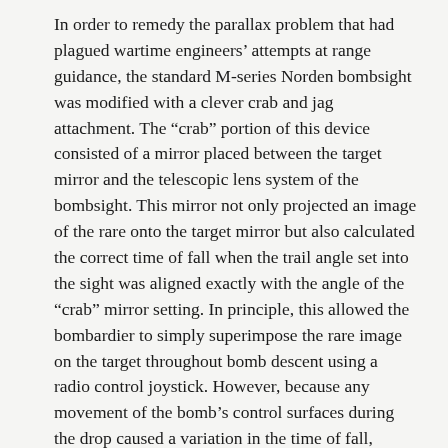In order to remedy the parallax problem that had plagued wartime engineers' attempts at range guidance, the standard M-series Norden bombsight was modified with a clever crab and jag attachment. The “crab” portion of this device consisted of a mirror placed between the target mirror and the telescopic lens system of the bombsight. This mirror not only projected an image of the rare onto the target mirror but also calculated the correct time of fall when the trail angle set into the sight was aligned exactly with the angle of the “crab” mirror setting. In principle, this allowed the bombardier to simply superimpose the rare image on the target throughout bomb descent using a radio control joystick. However, because any movement of the bomb’s control surfaces during the drop caused a variation in the time of fall, affecting range, the “jag” attachment was introduced to compensate for this effect by changing the rate set into the bombsight each time course corrections were